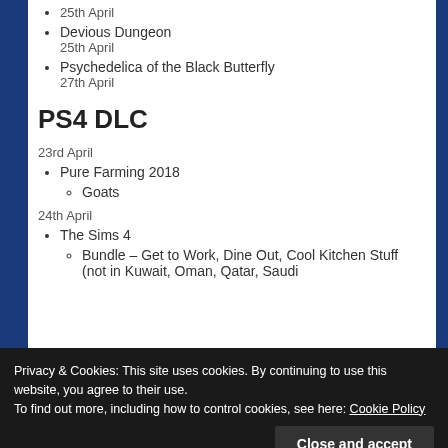25th April
Devious Dungeon
25th April
Psychedelica of the Black Butterfly
27th April
PS4 DLC
23rd April
Pure Farming 2018
Goats
24th April
The Sims 4
Bundle – Get to Work, Dine Out, Cool Kitchen Stuff (not in Kuwait, Oman, Qatar, Saudi
Privacy & Cookies: This site uses cookies. By continuing to use this website, you agree to their use.
To find out more, including how to control cookies, see here: Cookie Policy
26th April